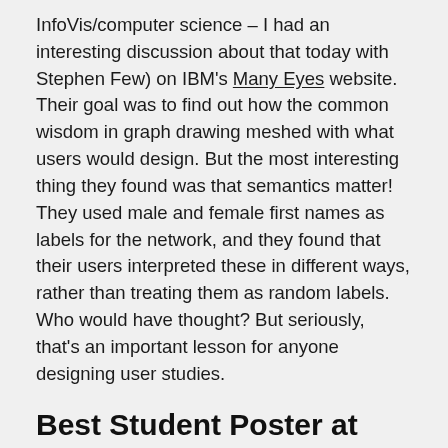InfoVis/computer science – I had an interesting discussion about that today with Stephen Few) on IBM's Many Eyes website. Their goal was to find out how the common wisdom in graph drawing meshed with what users would design. But the most interesting thing they found was that semantics matter! They used male and female first names as labels for the network, and they found that their users interpreted these in different ways, rather than treating them as random labels. Who would have thought? But seriously, that's an important lesson for anyone designing user studies.
Best Student Poster at VAST for Alex Godwin